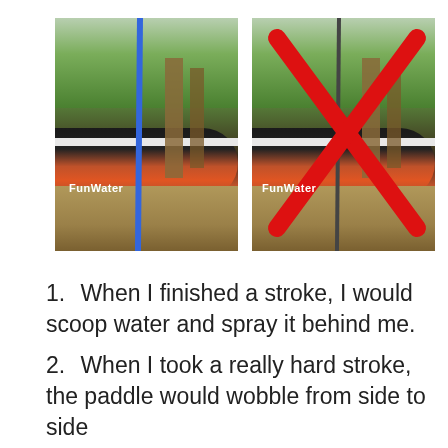[Figure (photo): Two side-by-side photos of a FunWater stand-up paddleboard leaning against trees outdoors. The left photo shows a paddle held vertically (correct technique). The right photo shows the same setup but with a large red X overlaid, indicating incorrect technique.]
When I finished a stroke, I would scoop water and spray it behind me.
When I took a really hard stroke, the paddle would wobble from side to side